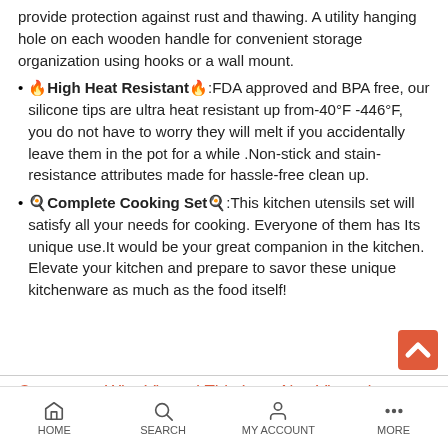provide protection against rust and thawing. A utility hanging hole on each wooden handle for convenient storage organization using hooks or a wall mount.
🔥High Heat Resistant🔥:FDA approved and BPA free, our silicone tips are ultra heat resistant up from -40°F -446°F, you do not have to worry they will melt if you accidentally leave them in the pot for a while .Non-stick and stain-resistance attributes made for hassle-free clean up.
🍳Complete Cooking Set🍳:This kitchen utensils set will satisfy all your needs for cooking. Everyone of them has Its unique use.It would be your great companion in the kitchen. Elevate your kitchen and prepare to savor these unique kitchenware as much as the food itself!
Customers Who Viewed This Item Also Viewed
HOME   SEARCH   MY ACCOUNT   MORE